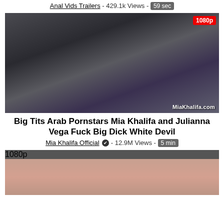Anal Vids Trailers - 429.1k Views - 59 sec
[Figure (photo): Thumbnail image with 1080p badge and MiaKhalifa.com watermark]
Big Tits Arab Pornstars Mia Khalifa and Julianna Vega Fuck Big Dick White Devil
Mia Khalifa Official ✔ - 12.9M Views - 5 min
[Figure (photo): Thumbnail of woman with 1080p badge, partially cropped]